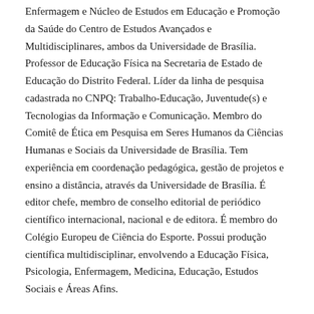Enfermagem e Núcleo de Estudos em Educação e Promoção da Saúde do Centro de Estudos Avançados e Multidisciplinares, ambos da Universidade de Brasília. Professor de Educação Física na Secretaria de Estado de Educação do Distrito Federal. Líder da linha de pesquisa cadastrada no CNPQ: Trabalho-Educação, Juventude(s) e Tecnologias da Informação e Comunicação. Membro do Comitê de Ética em Pesquisa em Seres Humanos da Ciências Humanas e Sociais da Universidade de Brasília. Tem experiência em coordenação pedagógica, gestão de projetos e ensino a distância, através da Universidade de Brasília. É editor chefe, membro de conselho editorial de periódico científico internacional, nacional e de editora. É membro do Colégio Europeu de Ciência do Esporte. Possui produção científica multidisciplinar, envolvendo a Educação Física, Psicologia, Enfermagem, Medicina, Educação, Estudos Sociais e Áreas Afins.
Ricardo Jacó de Oliveira, Universidade de Brasília